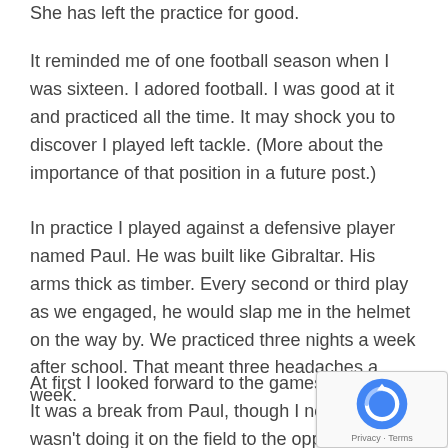She has left the practice for good.
It reminded me of one football season when I was sixteen. I adored football. I was good at it and practiced all the time. It may shock you to discover I played left tackle. (More about the importance of that position in a future post.)
In practice I played against a defensive player named Paul. He was built like Gibraltar. His arms thick as timber. Every second or third play as we engaged, he would slap me in the helmet on the way by. We practiced three nights a week after school. That meant three headaches a week.
At first I looked forward to the games on Sunday. It was a break from Paul, though I noticed he wasn't doing it on the field to the opponents. Just to me on weeknights.
It wasn't long until I began to hate football. Years later I